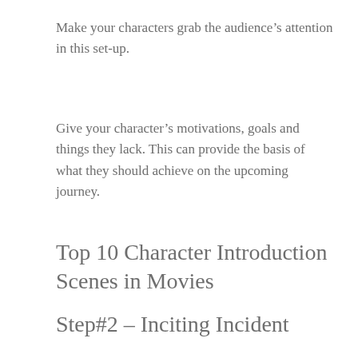Make your characters grab the audience’s attention in this set-up.
Give your character’s motivations, goals and things they lack. This can provide the basis of what they should achieve on the upcoming journey.
Top 10 Character Introduction Scenes in Movies
Step#2 – Inciting Incident